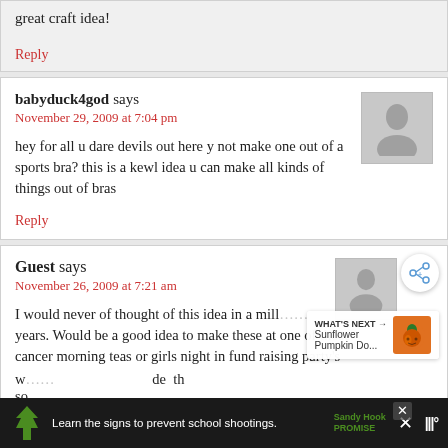great craft idea!
Reply
babyduck4god says
November 29, 2009 at 7:04 pm
hey for all u dare devils out here y not make one out of a sports bra? this is a kewl idea u can make all kinds of things out of bras
Reply
Guest says
November 26, 2009 at 7:21 am
I would never of thought of this idea in a mill years. Would be a good idea to make these at one of those cancer morning teas or girls night in fund raising party's w... de th so...
WHAT'S NEXT → Sunflower Pumpkin Do...
Learn the signs to prevent school shootings.